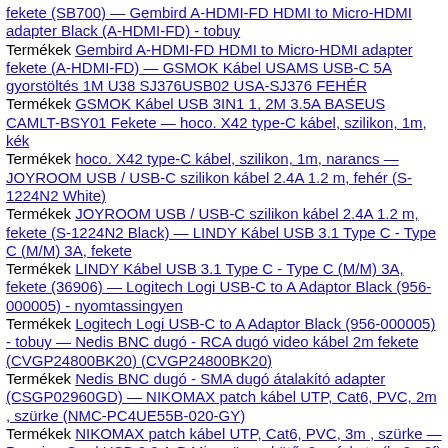fekete (SB700) — Gembird A-HDMI-FD HDMI to Micro-HDMI adapter Black (A-HDMI-FD) - tobuy
Termékek Gembird A-HDMI-FD HDMI to Micro-HDMI adapter fekete (A-HDMI-FD) — GSMOK Kábel USAMS USB-C 5A gyorstöltés 1M U38 SJ376USB02 USA-SJ376 FEHÉR
Termékek GSMOK Kábel USB 3IN1 1, 2M 3.5A BASEUS CAMLT-BSY01 Fekete — hoco. X42 type-C kábel, szilikon, 1m, kék
Termékek hoco. X42 type-C kábel, szilikon, 1m, narancs — JOYROOM USB / USB-C szilikon kábel 2.4A 1.2 m, fehér (S-1224N2 White)
Termékek JOYROOM USB / USB-C szilikon kábel 2.4A 1.2 m, fekete (S-1224N2 Black) — LINDY Kábel USB 3.1 Type C - Type C (M/M) 3A, fekete
Termékek LINDY Kábel USB 3.1 Type C - Type C (M/M) 3A, fekete (36906) — Logitech Logi USB-C to A Adaptor Black (956-000005) - nyomtassingyen
Termékek Logitech Logi USB-C to A Adaptor Black (956-000005) - tobuy — Nedis BNC dugó - RCA dugó video kábel 2m fekete (CVGP24800BK20) (CVGP24800BK20)
Termékek Nedis BNC dugó - SMA dugó átalakító adapter (CSGP02960GD) — NIKOMAX patch kábel UTP, Cat6, PVC, 2m , szürke (NMC-PC4UE55B-020-GY)
Termékek NIKOMAX patch kábel UTP, Cat6, PVC, 3m , szürke — PremiumCord USB 2.0 A-B Micro összekötő, 2m, fekete (ku2m2f)